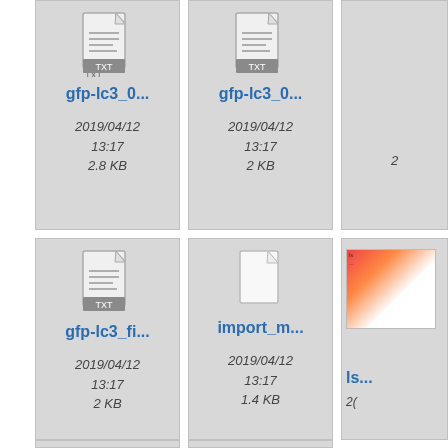[Figure (screenshot): File browser thumbnail view showing text files. Row 1: 'gfp-lc3_0...' (2019/04/12 13:17, 2.8 KB) and 'gfp-lc3_0...' (2019/04/12 13:17, 2 KB) with TXT icons, plus partial third item. Row 2: 'gfp-lc3_fi...' (2019/04/12 13:17, 2 KB) TXT file, 'import_m...' (2019/04/12 13:17, 1.4 KB) blank file, plus partial third item. Row 3: partial row of more items.]